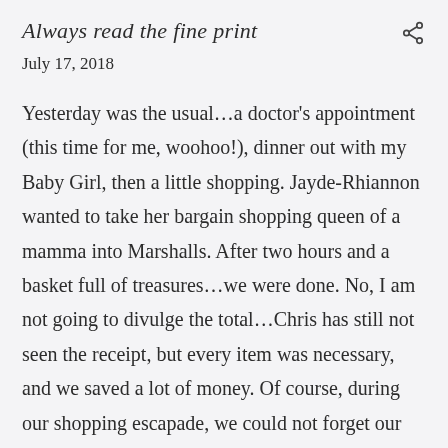Always read the fine print
July 17, 2018
Yesterday was the usual…a doctor's appointment (this time for me, woohoo!), dinner out with my Baby Girl, then a little shopping. Jayde-Rhiannon wanted to take her bargain shopping queen of a mamma into Marshalls. After two hours and a basket full of treasures…we were done. No, I am not going to divulge the total…Chris has still not seen the receipt, but every item was necessary, and we saved a lot of money. Of course, during our shopping escapade, we could not forget our furbabies. Jayde and I were so excited to find a cute little scratching post for our